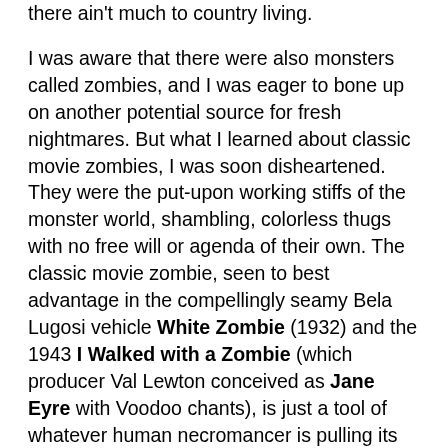there ain't much to country living.
I was aware that there were also monsters called zombies, and I was eager to bone up on another potential source for fresh nightmares. But what I learned about classic movie zombies, I was soon disheartened. They were the put-upon working stiffs of the monster world, shambling, colorless thugs with no free will or agenda of their own. The classic movie zombie, seen to best advantage in the compellingly seamy Bela Lugosi vehicle White Zombie (1932) and the 1943 I Walked with a Zombie (which producer Val Lewton conceived as Jane Eyre with Voodoo chants), is just a tool of whatever human necromancer is pulling its strings. Other classic monsters, including King Kong and even the lower-rent Creature from the Black Lagoon, inspire audience empathy. People sympathize with them as misunderstood outcasts and unloved freaks, or envy them as ruthless celebrants of their lustiest antisocial urges. Zombies were too colorless even to feel sorry for. Another Vietnam-era zombie film, Bob Clark's Deathdream, has perhaps the first undead protagonist with feelings and some tragic stature, but that movie remains a one-of-a-kind outlier on the landscape